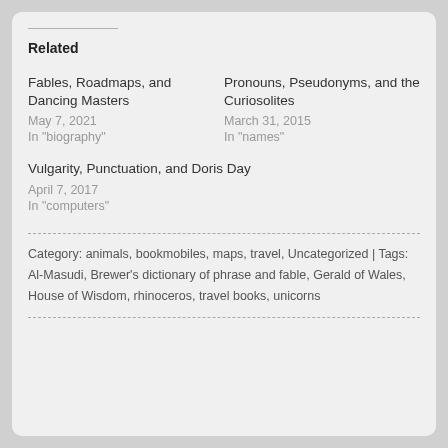Related
Fables, Roadmaps, and Dancing Masters
May 7, 2021
In "biography"
Pronouns, Pseudonyms, and the Curiosolites
March 31, 2015
In "names"
Vulgarity, Punctuation, and Doris Day
April 7, 2017
In "computers"
Category: animals, bookmobiles, maps, travel, Uncategorized | Tags: Al-Masudi, Brewer's dictionary of phrase and fable, Gerald of Wales, House of Wisdom, rhinoceros, travel books, unicorns